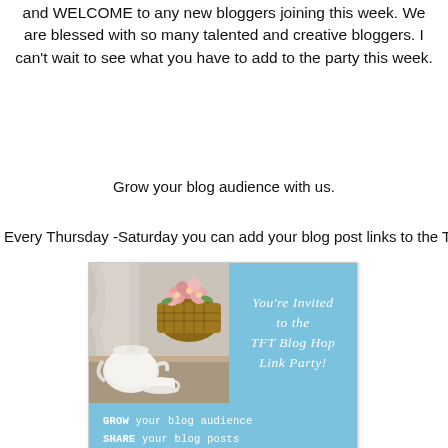and WELCOME to any new bloggers joining this week. We are blessed with so many talented and creative bloggers. I can't wait to see what you have to add to the party this week.
Grow your blog audience with us.
Every Thursday -Saturday you can add your blog post links to the T
[Figure (illustration): TFT Blog Hop Link Party promotional card on a light blue background. Left side shows a photo of a white teapot and teacup with a basket of pink flowers. Right side has italic white serif text: You're Invited to the TFT Blog Hop Link Party! Bottom section has monospaced white text: GROW your blog audience, SHARE your blog posts, DISCOVER an amazing variety of blogs to enjoy!]